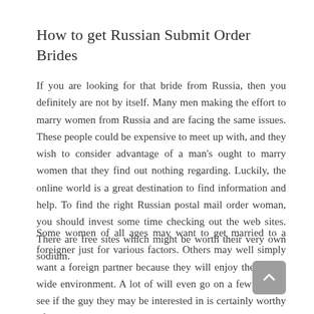How to get Russian Submit Order Brides
If you are looking for that bride from Russia, then you definitely are not by itself. Many men making the effort to marry women from Russia and are facing the same issues. These people could be expensive to meet up with, and they wish to consider advantage of a man's ought to marry women that they find out nothing regarding. Luckily, the online world is a great destination to find information and help. To find the right Russian postal mail order woman, you should invest some time checking out the web sites. There are free sites which might be worth their very own sodium.
Some women of all ages may want to get married to a foreigner just for various factors. Others may well simply want a foreign partner because they will enjoy the world-wide environment. A lot of will even go on a few days to see if the guy they may be interested in is certainly worthy of